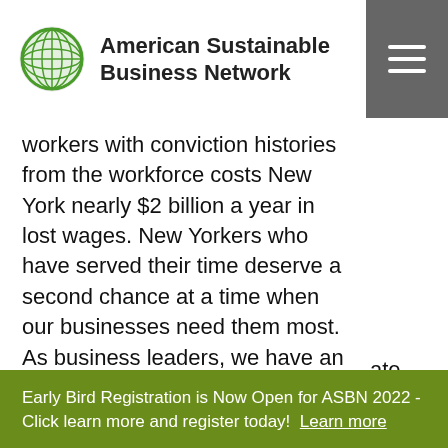American Sustainable Business Network
workers with conviction histories from the workforce costs New York nearly $2 billion a year in lost wages. New Yorkers who have served their time deserve a second chance at a time when our businesses need them most. As business leaders, we have an obligation to work towards a more just society. Clean Slate legislation is a ...ate
Early Bird Registration is Now Open for ASBN 2022 - Click learn more and register today!  Learn more
Got it!